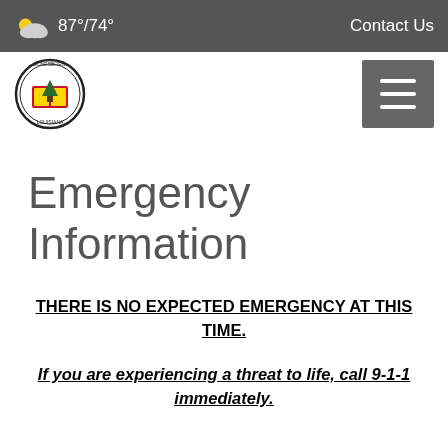87°/74°   Contact Us
[Figure (logo): Jonesboro Louisiana city logo — circular seal with decorative emblem]
Emergency Information
THERE IS NO EXPECTED EMERGENCY AT THIS TIME.
If you are experiencing a threat to life, call 9-1-1 immediately.